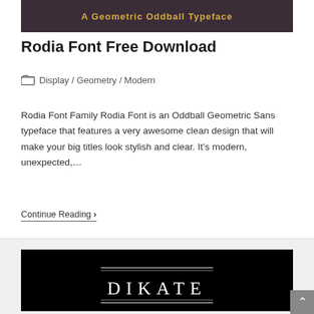[Figure (illustration): Dark banner image with orange/gold text reading 'A Geometric Oddball Typeface' on a dark brownish-purple background]
Rodia Font Free Download
Display / Geometry / Modern
Rodia Font Family Rodia Font is an Oddball Geometric Sans typeface that features a very awesome clean design that will make your big titles look stylish and clear. It's modern, unexpected,…
Continue Reading ❯
[Figure (illustration): Black background with white decorative serif/geometric font text displaying 'DIKATE' or similar word with decorative horizontal lines above and below]